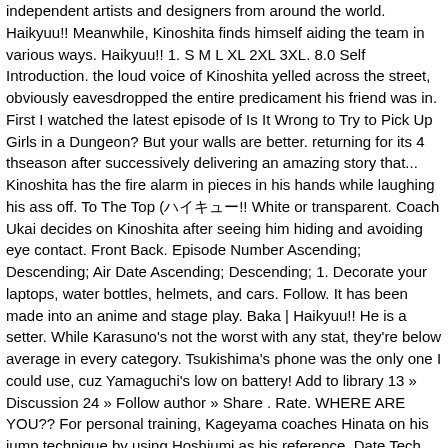independent artists and designers from around the world. Haikyuu!! Meanwhile, Kinoshita finds himself aiding the team in various ways. Haikyuu!! 1. S M L XL 2XL 3XL. 8.0 Self Introduction. the loud voice of Kinoshita yelled across the street, obviously eavesdropped the entire predicament his friend was in. First I watched the latest episode of Is It Wrong to Try to Pick Up Girls in a Dungeon? But your walls are better. returning for its 4 thseason after successively delivering an amazing story that... Kinoshita has the fire alarm in pieces in his hands while laughing his ass off. To The Top (ハイキュー!! White or transparent. Coach Ukai decides on Kinoshita after seeing him hiding and avoiding eye contact. Front Back. Episode Number Ascending; Descending; Air Date Ascending; Descending; 1. Decorate your laptops, water bottles, helmets, and cars. Follow. It has been made into an anime and stage play. Baka | Haikyuu!! He is a setter. While Karasuno's not the worst with any stat, they're below average in every category. Tsukishima's phone was the only one I could use, cuz Yamaguchi's low on battery! Add to library 13 » Discussion 24 » Follow author » Share . Rate. WHERE ARE YOU?? For personal training, Kageyama coaches Hinata on his jump technique by using Hoshiumi as his reference. Date Tech ... Buy 'Haikyuu!! We also have our fantastic dolls and old-school toys too. My idea is 1- Ennoshita 2-Kinoshita 3- Tanaka 4- Noya 5-Narita 6-Kageyama 7-Yamaguchi 8-Hinata 9-Tsukishima . After practicing their receives they went out for a run. sunicorn. As we have more than one of each item available, it is not possible for us to allocate items for players individually, their...